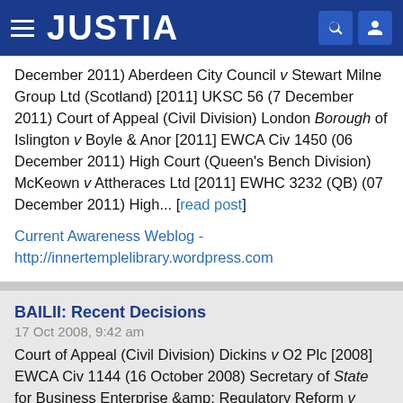JUSTIA
December 2011) Aberdeen City Council v Stewart Milne Group Ltd (Scotland) [2011] UKSC 56 (7 December 2011) Court of Appeal (Civil Division) London Borough of Islington v Boyle & Anor [2011] EWCA Civ 1450 (06 December 2011) High Court (Queen's Bench Division) McKeown v Attheraces Ltd [2011] EWHC 3232 (QB) (07 December 2011) High... [read post]
Current Awareness Weblog - http://innertemplelibrary.wordpress.com
BAILII: Recent Decisions
17 Oct 2008, 9:42 am
Court of Appeal (Civil Division) Dickins v O2 Plc [2008] EWCA Civ 1144 (16 October 2008) Secretary of State for Business Enterprise & Regulatory Reform v Aaron &amp; Ors [2008] EWCA Civ 1146 (16 October 2008)